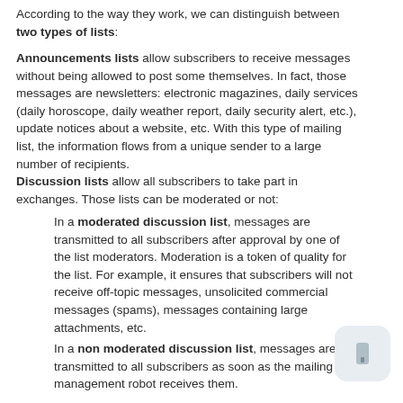According to the way they work, we can distinguish between two types of lists:
Announcements lists allow subscribers to receive messages without being allowed to post some themselves. In fact, those messages are newsletters: electronic magazines, daily services (daily horoscope, daily weather report, daily security alert, etc.), update notices about a website, etc. With this type of mailing list, the information flows from a unique sender to a large number of recipients.
Discussion lists allow all subscribers to take part in exchanges. Those lists can be moderated or not:
In a moderated discussion list, messages are transmitted to all subscribers after approval by one of the list moderators. Moderation is a token of quality for the list. For example, it ensures that subscribers will not receive off-topic messages, unsolicited commercial messages (spams), messages containing large attachments, etc.
In a non moderated discussion list, messages are transmitted to all subscribers as soon as the mailing list management robot receives them.
Features
Once subscribed to a mailing list service, you can: